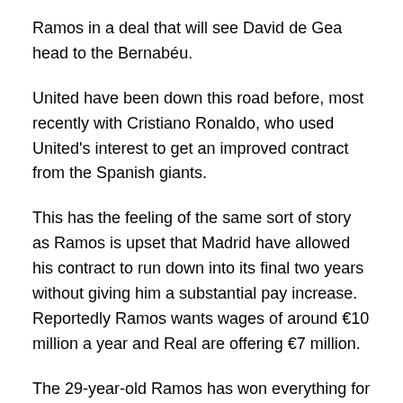Ramos in a deal that will see David de Gea head to the Bernabéu.
United have been down this road before, most recently with Cristiano Ronaldo, who used United's interest to get an improved contract from the Spanish giants.
This has the feeling of the same sort of story as Ramos is upset that Madrid have allowed his contract to run down into its final two years without giving him a substantial pay increase. Reportedly Ramos wants wages of around €10 million a year and Real are offering €7 million.
The 29-year-old Ramos has won everything for both club and country, but he is said to be unhappy with the sacking of former coach Carlo Ancelotti.